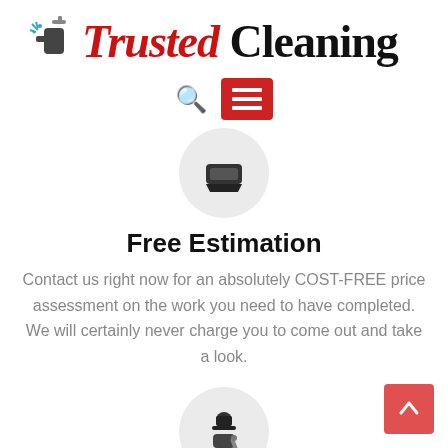[Figure (logo): Trusted Cleaning logo with spray bottle icon and red/black text]
[Figure (screenshot): Navigation bar with search icon and red hamburger menu button]
[Figure (illustration): Gray circle icon with a cleaning sponge/eraser icon inside]
Free Estimation
Contact us right now for an absolutely COST-FREE price assessment on the work you need to have completed. We will certainly never charge you to come out and take a look.
[Figure (illustration): Gray circle icon with a worker/technician icon inside]
Talented Staff